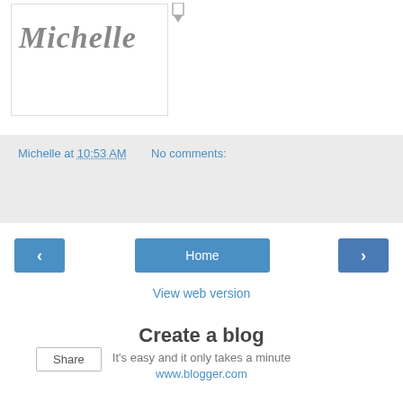[Figure (illustration): A card/blog post thumbnail showing stylized cursive text 'Michelle' in gray on a white card with border. A pin/bookmark icon appears above-right of the card.]
Michelle at 10:53 AM   No comments:
Share
< Home >
View web version
Create a blog
It's easy and it only takes a minute
www.blogger.com